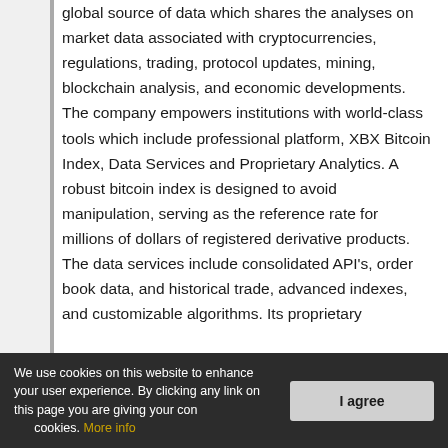global source of data which shares the analyses on market data associated with cryptocurrencies, regulations, trading, protocol updates, mining, blockchain analysis, and economic developments. The company empowers institutions with world-class tools which include professional platform, XBX Bitcoin Index, Data Services and Proprietary Analytics. A robust bitcoin index is designed to avoid manipulation, serving as the reference rate for millions of dollars of registered derivative products. The data services include consolidated API's, order book data, and historical trade, advanced indexes, and customizable algorithms. Its proprietary
We use cookies on this website to enhance your user experience. By clicking any link on this page you are giving your consent for us to set cookies. More info